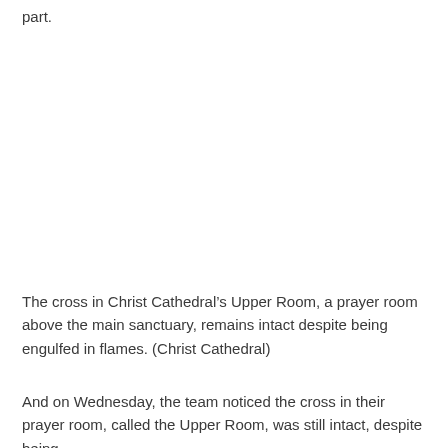part.
The cross in Christ Cathedral’s Upper Room, a prayer room above the main sanctuary, remains intact despite being engulfed in flames. (Christ Cathedral)
And on Wednesday, the team noticed the cross in their prayer room, called the Upper Room, was still intact, despite being